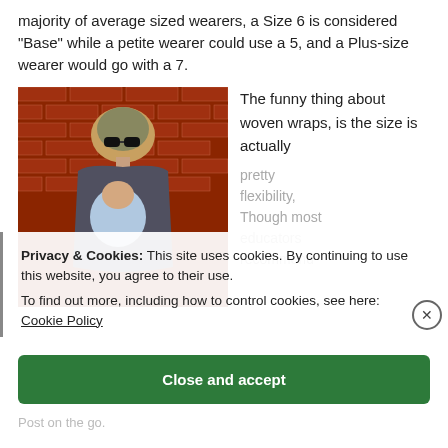majority of average sized wearers, a Size 6 is considered “Base” while a petite wearer could use a 5, and a Plus-size wearer would go with a 7.
[Figure (photo): Person wearing a baby in a woven wrap carrier, standing against a red brick wall. Person is wearing sunglasses and a hat, baby is sleeping on their chest.]
The funny thing about woven wraps, is the size is actually
pretty flexibility, Though most educators recommend
Privacy & Cookies: This site uses cookies. By continuing to use this website, you agree to their use.
To find out more, including how to control cookies, see here: Cookie Policy
Close and accept
Post on the go.